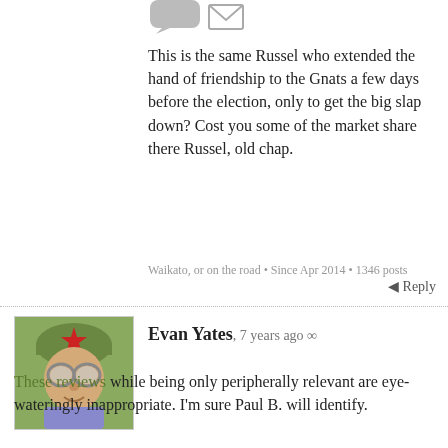[Figure (illustration): Partial avatar icon - grey speech bubble shape cropped at top]
[Figure (illustration): Small envelope/mail icon]
This is the same Russel who extended the hand of friendship to the Gnats a few days before the election, only to get the big slap down? Cost you some of the market share there Russel, old chap.
Waikato, or on the road • Since Apr 2014 • 1346 posts
Reply
[Figure (photo): Avatar image of Evan Yates - illustrated portrait of man with glasses and red star cap]
Evan Yates, 7 years ago ∞
These reviews while being only peripherally relevant are eye-wateringly inappropriate. I'm sure Paul B. will identify.
Hamiltron, Te Ika-a-Māui • Since Nov 2006 • 197 posts
Reply
[Figure (illustration): Grey speech bubble avatar placeholder for Sacha]
Sacha, in reply to Evan Yates, 7 years ago ∞
[Figure (illustration): Computer/monitor icon and Twitter bird icon social media buttons]